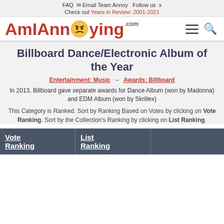FAQ  Email Team Annoy  Follow us
Check out Years in Review: 2001-2021
[Figure (logo): AmIAnnoying.com logo with annoyed face emoji and hamburger menu plus search icon]
Billboard Dance/Electronic Album of the Year
Entertainment: Music → Awards: Billboard
In 2013, Billboard gave separate awards for Dance Album (won by Madonna) and EDM Album (won by Skrillex)
This Category is Ranked. Sort by Ranking Based on Votes by clicking on Vote Ranking. Sort by the Collection's Ranking by clicking on List Ranking.
| Vote Ranking | List Ranking |  |
| --- | --- | --- |